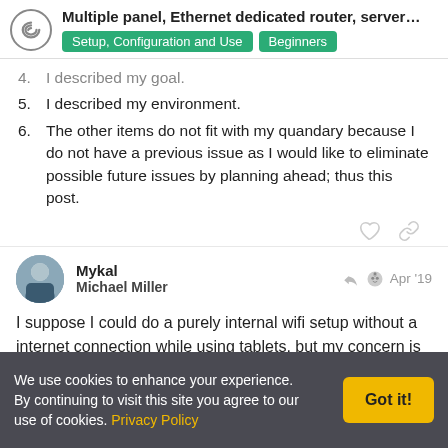Multiple panel, Ethernet dedicated router, server...
4. I described my goal.
5. I described my environment.
6. The other items do not fit with my quandary because I do not have a previous issue as I would like to eliminate possible future issues by planning ahead; thus this post.
Mykal
Michael Miller
Apr '19
I suppose I could do a purely internal wifi setup without a internet connection while using tablets, but my concern is do they all talk to each other. Nothing I have found says they talk to each other on a moment by moment basis. (IE: Tablet/panel in
We use cookies to enhance your experience. By continuing to visit this site you agree to our use of cookies. Privacy Policy